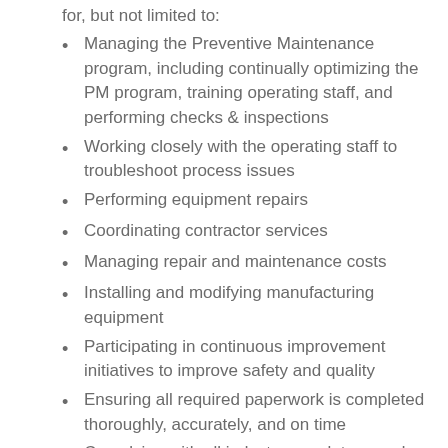for, but not limited to:
Managing the Preventive Maintenance program, including continually optimizing the PM program, training operating staff, and performing checks & inspections
Working closely with the operating staff to troubleshoot process issues
Performing equipment repairs
Coordinating contractor services
Managing repair and maintenance costs
Installing and modifying manufacturing equipment
Participating in continuous improvement initiatives to improve safety and quality
Ensuring all required paperwork is completed thoroughly, accurately, and on time
Complying with all industry, regulatory, and company standards, regulations, and policies